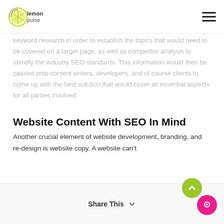lemon pulse [logo] [hamburger menu]
keyword research in order to establish the topics that would need to be covered on a target page, as well as competitor analysis to identify the industry SEO standards. This information would then be passed onto content writers, developers, and of course clients to come up with the best solution that would cover all essential aspects for all parties involved.
Website Content With SEO In Mind
Another crucial element of website development, branding, and re-design is website copy. A website can't
Share This